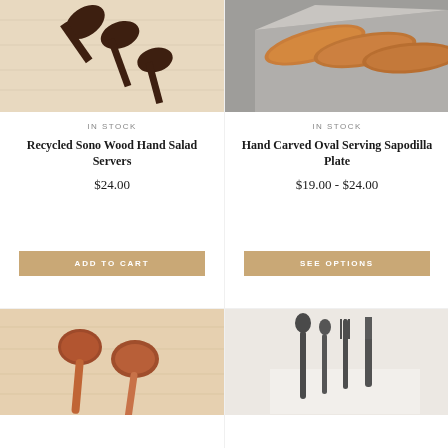[Figure (photo): Dark brown wooden salad servers on a light wood surface]
IN STOCK
Recycled Sono Wood Hand Salad Servers
$24.00
[Figure (photo): Orange/terracotta oval serving plates on a concrete block]
IN STOCK
Hand Carved Oval Serving Sapodilla Plate
$19.00 - $24.00
ADD TO CART
SEE OPTIONS
[Figure (photo): Reddish-brown wooden spoon and fork on light wood surface]
[Figure (photo): Black/dark metal cutlery set (spoons, fork, knife) on white background]